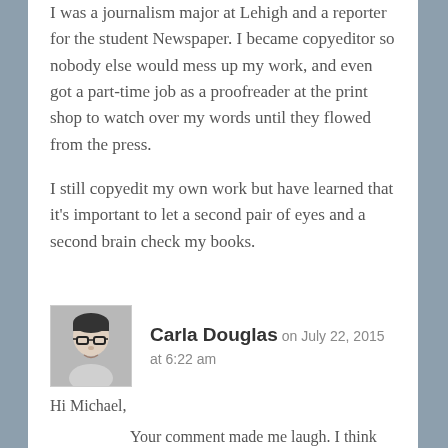I was a journalism major at Lehigh and a reporter for the student Newspaper. I became copyeditor so nobody else would mess up my work, and even got a part-time job as a proofreader at the print shop to watch over my words until they flowed from the press.
I still copyedit my own work but have learned that it's important to let a second pair of eyes and a second brain check my books.
Carla Douglas on July 22, 2015 at 6:22 am
Hi Michael,
Your comment made me laugh. I think you're pointing out that there might be a copyeditor personality type — someone who's deeply committed to detail. (That's one of the nicer ways of putting it!) I agree